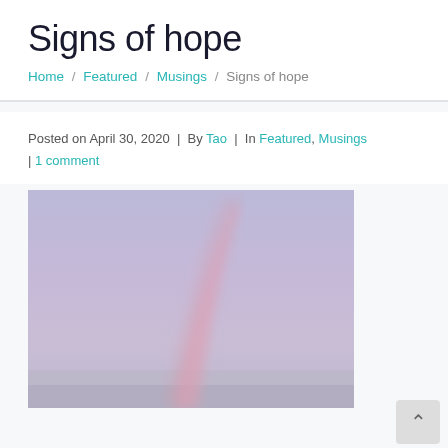Signs of hope
Home / Featured / Musings / Signs of hope
Posted on April 30, 2020  |  By Tao  |  In Featured, Musings  |  1 comment
[Figure (photo): A misty sky photo showing a faint rainbow arc in shades of lavender, purple, and soft pink tones.]